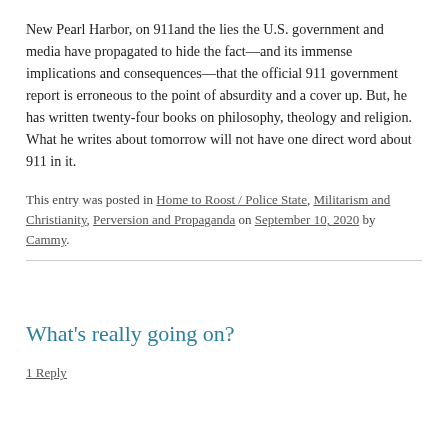New Pearl Harbor, on 911and the lies the U.S. government and media have propagated to hide the fact—and its immense implications and consequences—that the official 911 government report is erroneous to the point of absurdity and a cover up. But, he has written twenty-four books on philosophy, theology and religion. What he writes about tomorrow will not have one direct word about 911 in it.
This entry was posted in Home to Roost / Police State, Militarism and Christianity, Perversion and Propaganda on September 10, 2020 by Cammy.
What's really going on?
1 Reply